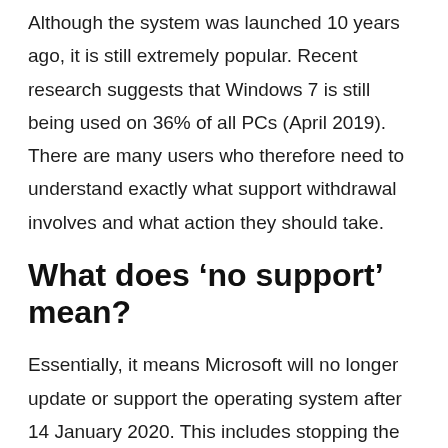Although the system was launched 10 years ago, it is still extremely popular. Recent research suggests that Windows 7 is still being used on 36% of all PCs (April 2019). There are many users who therefore need to understand exactly what support withdrawal involves and what action they should take.
What does 'no support' mean?
Essentially, it means Microsoft will no longer update or support the operating system after 14 January 2020. This includes stopping the availability of